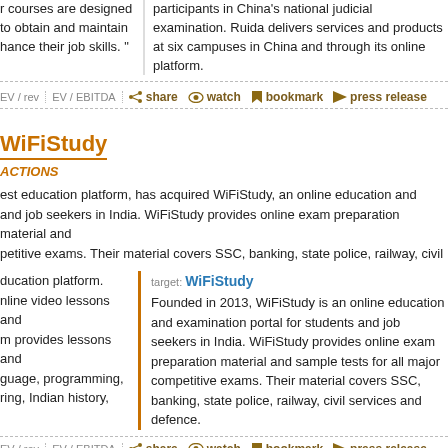courses are designed to obtain and maintain and enhance their job skills.
participants in China's national judicial examination. Ruida delivers services and products at six campuses in China and through its online platform.
EV / rev  EV / EBITDA  share  watch  bookmark  press release
WiFiStudy
ACTIONS
est education platform, has acquired WiFiStudy, an online education and and job seekers in India. WiFiStudy provides online exam preparation material and petitive exams. Their material covers SSC, banking, state police, railway, civil
target: WiFiStudy
ducation platform. nline video lessons and m provides lessons and guage, programming, ring, Indian history,
Founded in 2013, WiFiStudy is an online education and examination portal for students and job seekers in India. WiFiStudy provides online exam preparation material and sample tests for all major competitive exams. Their material covers SSC, banking, state police, railway, civil services and defence.
EV / rev  EV / EBITDA  share  watch  bookmark  press release